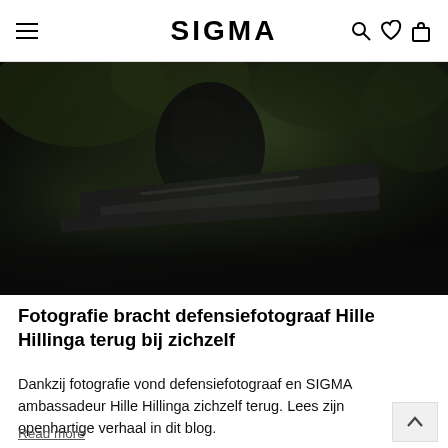SIGMA
[Figure (photo): Dark, moody close-up photograph of a military/defense photographer or soldier in camouflage, with a camera or weapon barrel visible in low-key lighting against a dark background with foliage.]
Fotografie bracht defensiefotograaf Hille Hillinga terug bij zichzelf
Dankzij fotografie vond defensiefotograaf en SIGMA ambassadeur Hille Hillinga zichzelf terug. Lees zijn openhartige verhaal in dit blog.
Read more